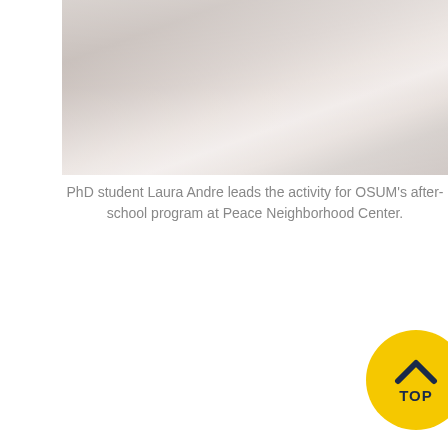[Figure (photo): Washed-out/faded photo of people engaged in an activity, showing hands and figures in muted tones — PhD student Laura Andre leading an activity for OSUM's after-school program at Peace Neighborhood Center.]
PhD student Laura Andre leads the activity for OSUM's after-school program at Peace Neighborhood Center.
[Figure (other): Yellow circular 'TOP' button with a dark navy chevron/caret pointing upward and the text 'TOP' below it, used as a back-to-top navigation element.]